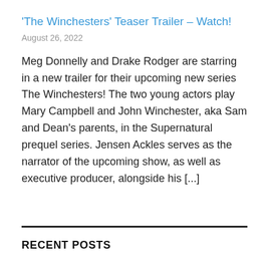'The Winchesters' Teaser Trailer - Watch!
August 26, 2022
Meg Donnelly and Drake Rodger are starring in a new trailer for their upcoming new series The Winchesters! The two young actors play Mary Campbell and John Winchester, aka Sam and Dean’s parents, in the Supernatural prequel series. Jensen Ackles serves as the narrator of the upcoming show, as well as executive producer, alongside his [...]
RECENT POSTS